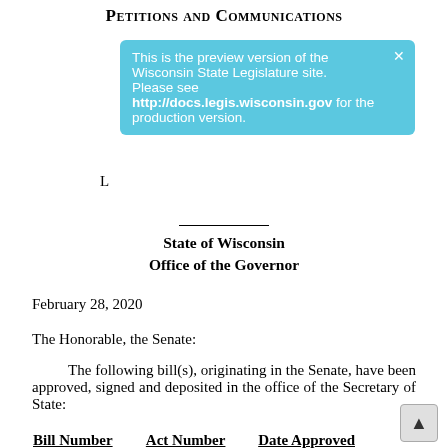Petitions and Communications
This is the preview version of the Wisconsin State Legislature site. Please see http://docs.legis.wisconsin.gov for the production version.
State of Wisconsin
Office of the Governor
February 28, 2020
The Honorable, the Senate:
The following bill(s), originating in the Senate, have been approved, signed and deposited in the office of the Secretary of State:
| Bill Number | Act Number | Date Approved |
| --- | --- | --- |
| Senate Bill 6 | 106 | February 28, 2020 |